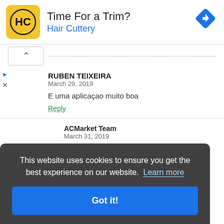[Figure (screenshot): Hair Cuttery advertisement banner with yellow logo, 'Time For a Trim?' heading, 'Hair Cuttery' subtitle in blue, and a blue diamond navigation icon on the right]
RUBEN TEIXEIRA
March 29, 2019

E uma aplicaçao muito boa

Reply
ACMarket Team
March 31, 2019
This website uses cookies to ensure you get the best experience on our website. Learn more

Got it!